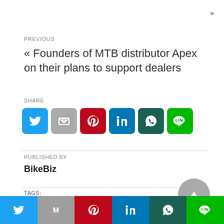»
PREVIOUS
« Founders of MTB distributor Apex on their plans to support dealers
SHARE
[Figure (infographic): Social share buttons: Twitter, Mail, Pinterest, LinkedIn, WhatsApp, Line]
PUBLISHED BY
BikeBiz
TAGS:
Five Minutes With / Vizirider
[Figure (infographic): Bottom social share bar: Twitter, Mail, Pinterest, LinkedIn, WhatsApp, Line]